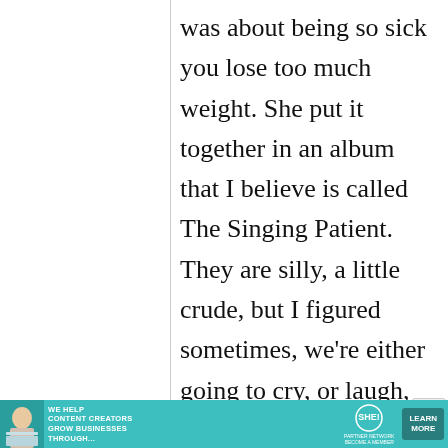was about being so sick you lose too much weight. She put it together in an album that I believe is called The Singing Patient. They are silly, a little crude, but I figured sometimes, we're either going to cry, or laugh, or maybe do both.
[Figure (infographic): Advertisement banner: teal background with woman sitting with laptop, text 'WE HELP CONTENT CREATORS GROW BUSINESSES THROUGH...', SHE Partner Network logo, and 'LEARN MORE' button]